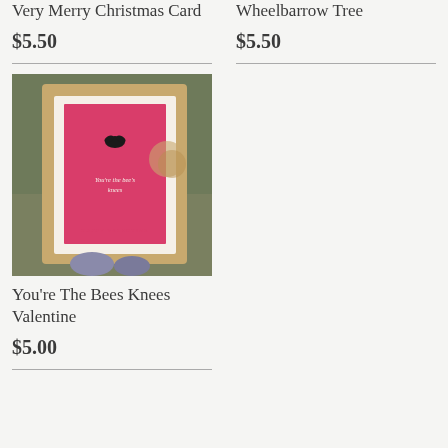Very Merry Christmas Card
$5.50
Wheelbarrow Tree
$5.50
[Figure (photo): A pink Valentine's Day card with a bee illustration reading 'You're the bee's knees' and 'Happy Valentine' at the bottom, displayed against a textured natural background with yarn or twine.]
You're The Bees Knees Valentine
$5.00